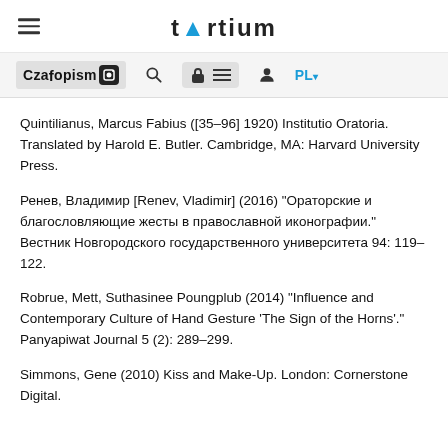tertium
[Figure (screenshot): Czasopismo toolbar with logo, search, lock, menu, user, and PL language selector icons]
Quintilianus, Marcus Fabius ([35–96] 1920) Institutio Oratoria. Translated by Harold E. Butler. Cambridge, MA: Harvard University Press.
Ренев, Владимир [Renev, Vladimir] (2016) "Ораторские и благословляющие жесты в православной иконографии." Вестник Новгородского государственного университета 94: 119–122.
Robrue, Mett, Suthasinee Poungplub (2014) "Influence and Contemporary Culture of Hand Gesture 'The Sign of the Horns'." Panyapiwat Journal 5 (2): 289–299.
Simmons, Gene (2010) Kiss and Make-Up. London: Cornerstone Digital.